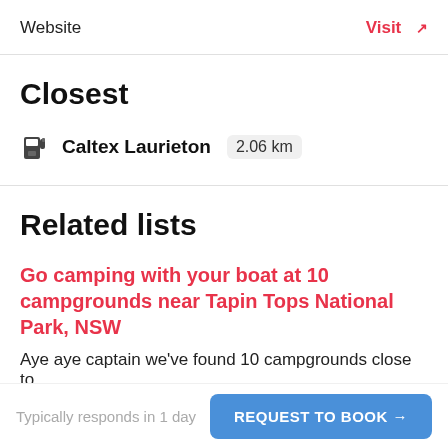Website
Visit ↗
Closest
⛽ Caltex Laurieton  2.06 km
Related lists
Go camping with your boat at 10 campgrounds near Tapin Tops National Park, NSW
Aye aye captain we've found 10 campgrounds close to
Typically responds in 1 day
REQUEST TO BOOK →